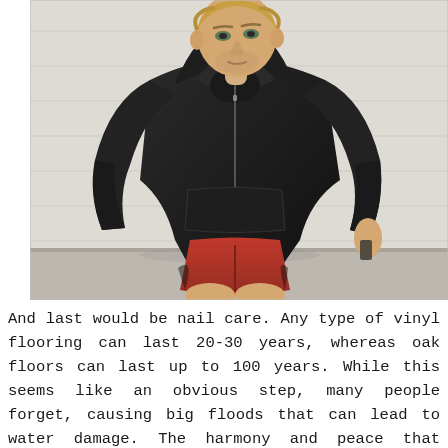[Figure (photo): A young man with short blonde hair posing outdoors. He is wearing a black zip-up hoodie and red athletic shorts. The background shows a white painted brick wall and a concrete surface. He is looking slightly upward and to the side.]
And last would be nail care. Any type of vinyl flooring can last 20-30 years, whereas oak floors can last up to 100 years. While this seems like an obvious step, many people forget, causing big floods that can lead to water damage. The harmony and peace that analogous